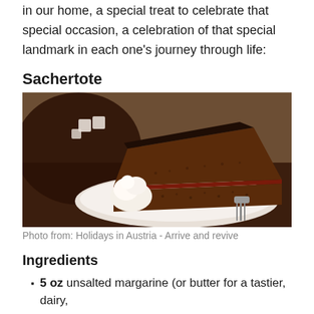in our home, a special treat to celebrate that special occasion, a celebration of that special landmark in each one's journey through life:
Sachertote
[Figure (photo): A slice of Sachertorte chocolate cake on a white plate with a dollop of whipped cream and a fork, on a dark brown plate background]
Photo from: Holidays in Austria - Arrive and revive
Ingredients
5 oz unsalted margarine (or butter for a tastier, dairy,